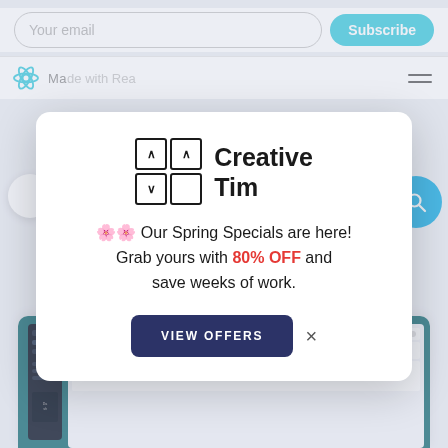[Figure (screenshot): Background webpage with email subscription bar, React logo, hamburger menu, and partial interface elements]
[Figure (screenshot): Modal popup from Creative Tim with Spring Specials offer — 80% OFF — and VIEW OFFERS button]
[Figure (screenshot): Bottom preview card showing a dashboard UI with teal background and dark sidebar layout]